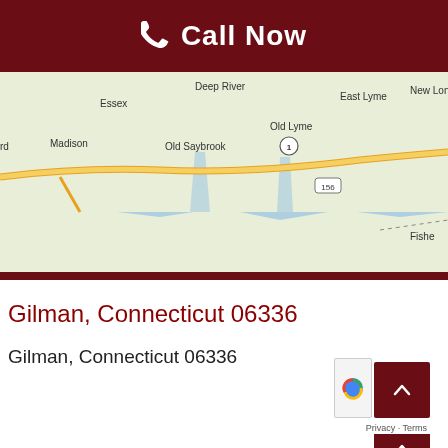Call Now
[Figure (map): Google Maps partial view showing Connecticut shoreline with towns: Deep River, Essex, East Lyme, New London, Old Lyme, Madison, Old Saybrook, Fisher's Island area. Route 1 and Route 156 visible.]
Gilman, Connecticut 06336
Gilman, Connecticut 06336